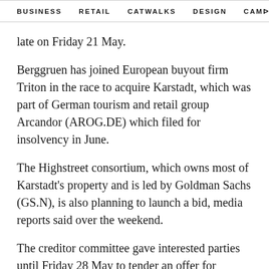BUSINESS   RETAIL   CATWALKS   DESIGN   CAMI  >
late on Friday 21 May.
Berggruen has joined European buyout firm Triton in the race to acquire Karstadt, which was part of German tourism and retail group Arcandor (AROG.DE) which filed for insolvency in June.
The Highstreet consortium, which owns most of Karstadt's property and is led by Goldman Sachs (GS.N), is also planning to launch a bid, media reports said over the weekend.
The creditor committee gave interested parties until Friday 28 May to tender an offer for Karstadt, one of the